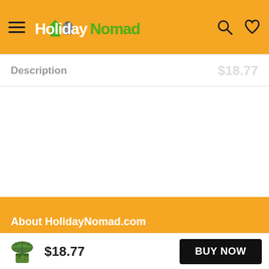[Figure (logo): HolidayNomad.com website header with orange background, hamburger menu icon, HolidayNomad logo with palm tree and luggage graphic, search icon, and heart/wishlist icon]
Description
$18.77 (faded price display in header area)
About HolidayNomad.com
[Figure (photo): Small product thumbnail image of a child's raincoat/poncho with umbrella graphic in green camouflage pattern]
$18.77
BUY NOW